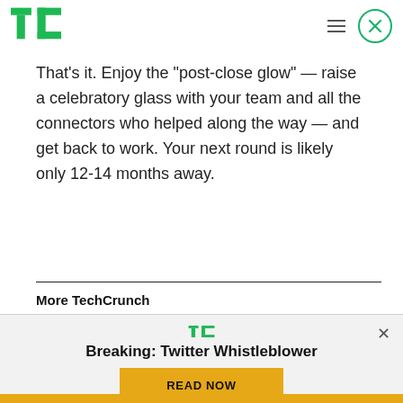TechCrunch
That’s it. Enjoy the “post-close glow” — raise a celebratory glass with your team and all the connectors who helped along the way — and get back to work. Your next round is likely only 12-14 months away.
More TechCrunch
[Figure (logo): TechCrunch TC logo green on light grey background with Breaking: Twitter Whistleblower headline and READ NOW yellow button]